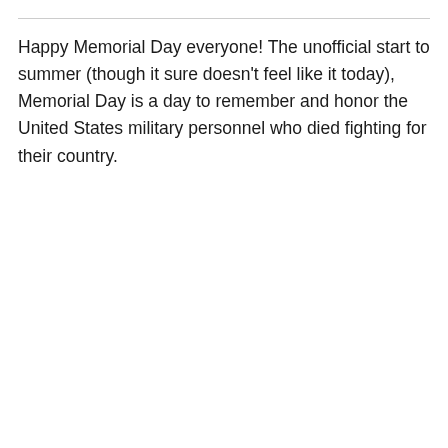Happy Memorial Day everyone! The unofficial start to summer (though it sure doesn't feel like it today), Memorial Day is a day to remember and honor the United States military personnel who died fighting for their country.